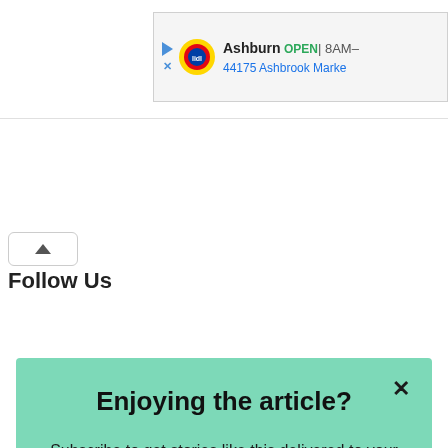[Figure (screenshot): Lidl advertisement banner showing Ashburn store location with OPEN status, hours 8AM-, and address 44175 Ashbrook Marke]
Follow Us
Enjoying the article?
Subscribe to get stories like this delivered to your inbox every day
Enter your email
Subscribe
powered by MailMunch